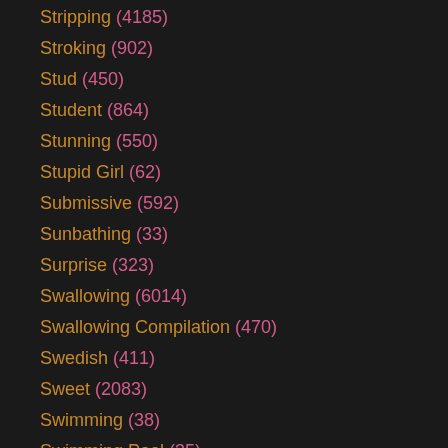Stripping (4185)
Stroking (902)
Stud (450)
Student (864)
Stunning (550)
Stupid Girl (62)
Submissive (592)
Sunbathing (33)
Surprise (323)
Swallowing (6014)
Swallowing Compilation (470)
Swedish (411)
Sweet (2083)
Swimming (38)
Swimming Pool (35)
Swimsuit (83)